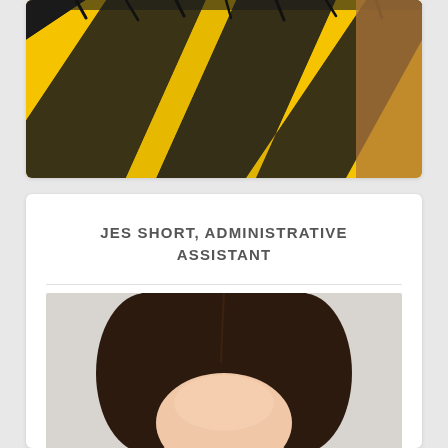[Figure (photo): Close-up photo of a yellow and black striped pattern, resembling a bee or tiger costume/fabric, with dark eyelash-like fringe visible at the top edge.]
JES SHORT, ADMINISTRATIVE ASSISTANT
[Figure (photo): Portrait photo of a person with dark brown hair parted in the middle, showing the top of their head and face from about the forehead up, against a light grey/white background.]